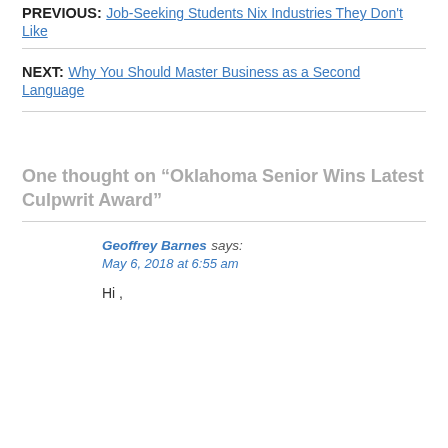PREVIOUS: Job-Seeking Students Nix Industries They Don't Like
NEXT: Why You Should Master Business as a Second Language
One thought on “Oklahoma Senior Wins Latest Culpwrit Award”
Geoffrey Barnes says:
May 6, 2018 at 6:55 am
Hi ,